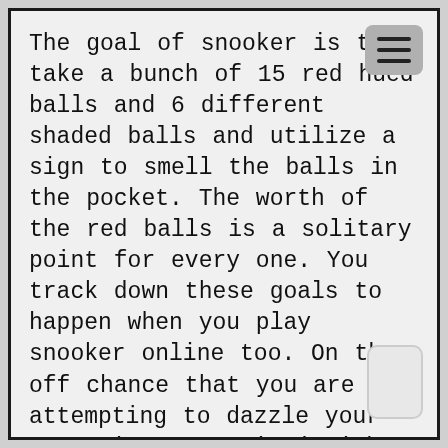The goal of snooker is to take a bunch of 15 red hued balls and 6 different shaded balls and utilize a sign to smell the balls in the pocket. The worth of the red balls is a solitary point for every one. You track down these goals to happen when you play snooker online too. On the off chance that you are attempting to dazzle your companions or gain insight in playing snooker then it very well may be smart to rehearse with someone who knows